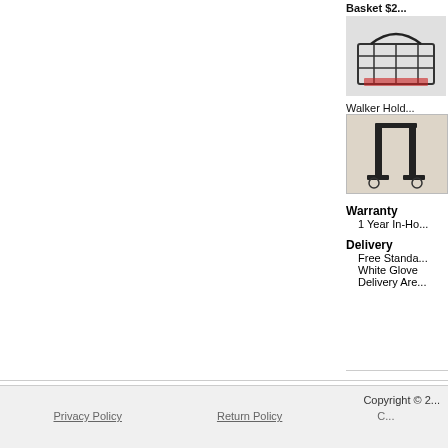Basket $2...
[Figure (photo): Product image - basket/cart accessory with black wire construction]
Walker Hold...
[Figure (photo): Product image - walker holder accessory, black metal brackets]
Warranty
    1 Year In-Ho...
Delivery
    Free Standa...
    White Glove
    Delivery Are...
What out customers think about this produ...
This product currently has no reviews. Would you lik...
Copyright © 2...
Privacy Policy    Return Policy    C...